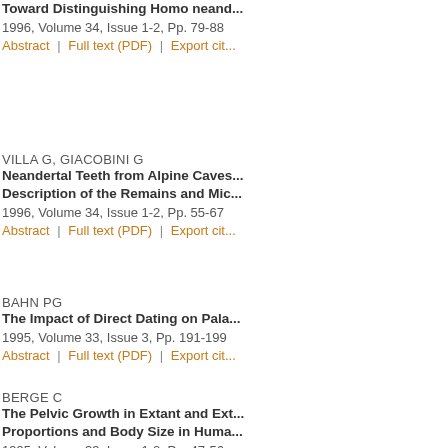Toward Distinguishing Homo neand...
1996, Volume 34, Issue 1-2, Pp. 79-88
Abstract | Full text (PDF) | Export cit...
VILLA G, GIACOBINI G
Neandertal Teeth from Alpine Caves... Description of the Remains and Mic...
1996, Volume 34, Issue 1-2, Pp. 55-67
Abstract | Full text (PDF) | Export cit...
BAHN PG
The Impact of Direct Dating on Pala...
1995, Volume 33, Issue 3, Pp. 191-199
Abstract | Full text (PDF) | Export cit...
BERGE C
The Pelvic Growth in Extant and Ext... Proportions and Body Size in Huma...
1995, Volume 33, Issue 1-2, Pp. 47-56